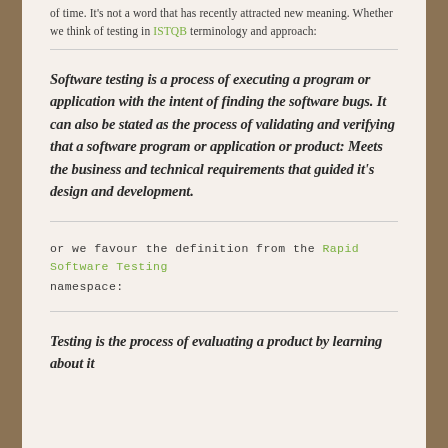of time. It's not a word that has recently attracted new meaning. Whether we think of testing in ISTQB terminology and approach:
Software testing is a process of executing a program or application with the intent of finding the software bugs. It can also be stated as the process of validating and verifying that a software program or application or product: Meets the business and technical requirements that guided it's design and development.
or we favour the definition from the Rapid Software Testing namespace:
Testing is the process of evaluating a product by learning about it